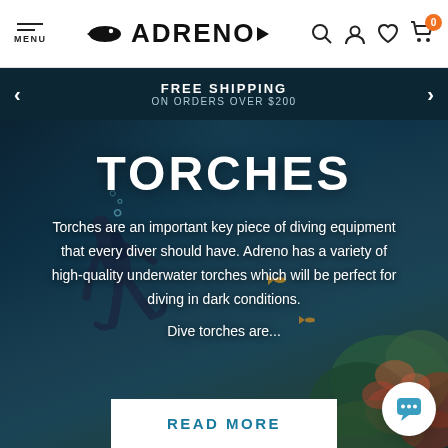MENU | ADRENO | (search, account, wishlist, cart icons)
FREE SHIPPING ON ORDERS OVER $200
TORCHES
Torches are an important key piece of diving equipment that every diver should have. Adreno has a variety of high-quality underwater torches which will be perfect for diving in dark conditions.

Dive torches are...
READ MORE